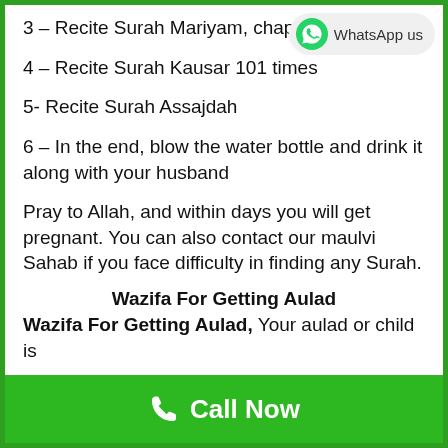[Figure (logo): WhatsApp us button with WhatsApp green circle icon and text 'WhatsApp us' on light gray rounded pill background]
3 – Recite Surah Mariyam, chapter 19, p
4 – Recite Surah Kausar 101 times
5- Recite Surah Assajdah
6 – In the end, blow the water bottle and drink it along with your husband
Pray to Allah, and within days you will get pregnant. You can also contact our maulvi Sahab if you face difficulty in finding any Surah.
Wazifa For Getting Aulad
Wazifa For Getting Aulad, Your aulad or child is
Call Now